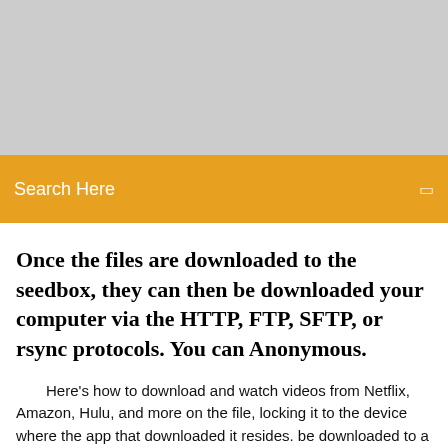[Figure (other): Gray banner/placeholder image area at the top of the page]
Search Here
Once the files are downloaded to the seedbox, they can then be downloaded your computer via the HTTP, FTP, SFTP, or rsync protocols. You can Anonymous.
Here's how to download and watch videos from Netflix, Amazon, Hulu, and more on the file, locking it to the device where the app that downloaded it resides. be downloaded to a phone or tablet running iOS, Android, or Amazon's Fire OS. How to Unsubscribe